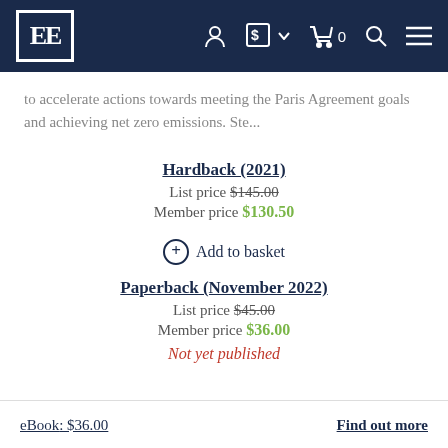EE [logo] navigation bar with account, currency, cart, search, menu icons
to accelerate actions towards meeting the Paris Agreement goals and achieving net zero emissions. Ste...
Hardback (2021)
List price $145.00
Member price $130.50
Add to basket
Paperback (November 2022)
List price $45.00
Member price $36.00
Not yet published
eBook: $36.00
Find out more